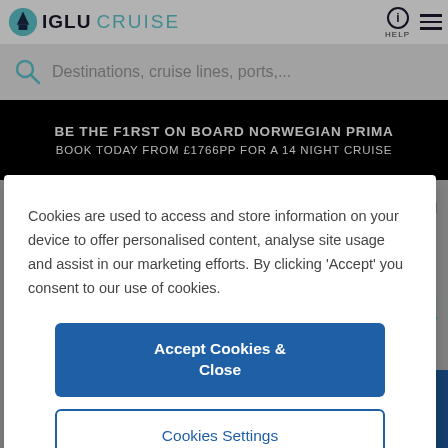IGLU CRUISE
Destinations, cruise lines, ports,...
BE THE F1RST ON BOARD NORWEGIAN PRIMA
BOOK TODAY FROM £1766PP FOR A 14 NIGHT CRUISE
Cookies are used to access and store information on your device to offer personalised content, analyse site usage and assist in our marketing efforts. By clicking 'Accept' you consent to our use of cookies.
Accept Cookies & Close
Cookies Settings